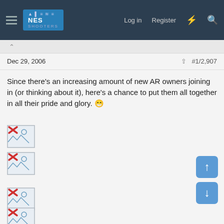NES Shooters — Log in  Register
Dec 29, 2006   #1/2,907
Since there's an increasing amount of new AR owners joining in (or thinking about it), here's a chance to put them all together in all their pride and glory. 😁
[Figure (photo): Broken image placeholder (image with red X) #1]
[Figure (photo): Broken image placeholder (image with red X) #2]
[Figure (photo): Broken image placeholder (image with red X) #3]
[Figure (photo): Broken image placeholder (image with red X) #4]